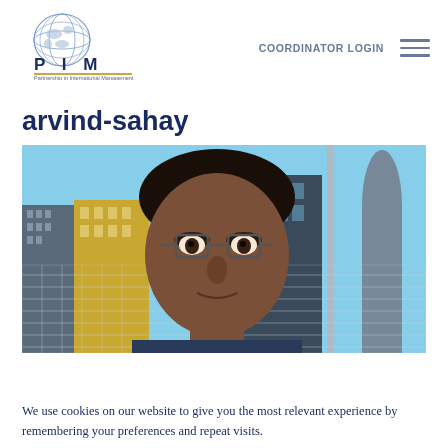[Figure (logo): PIM - Partnership in International Management logo with globe graphic and text]
COORDINATOR LOGIN
arvind-sahay
[Figure (photo): Portrait photo of a man with glasses outdoors, with urban buildings and a metal pole/fence in the background]
We use cookies on our website to give you the most relevant experience by remembering your preferences and repeat visits.